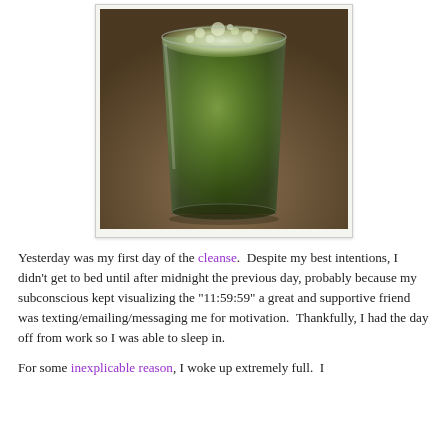[Figure (photo): A glass of dark green juice or smoothie photographed from above-front angle on a wooden surface, with frothy bubbles on top.]
Yesterday was my first day of the cleanse.  Despite my best intentions, I didn't get to bed until after midnight the previous day, probably because my subconscious kept visualizing the "11:59:59" a great and supportive friend was texting/emailing/messaging me for motivation.  Thankfully, I had the day off from work so I was able to sleep in.
For some inexplicable reason, I woke up extremely full.  I